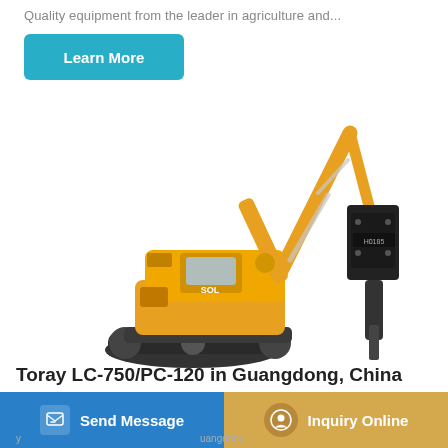Quality equipment from the leader in agriculture and...
Learn More
[Figure (photo): Yellow hydraulic excavator (Toray LC-750/PC-120) with a black hydraulic breaker attachment, shown on white background]
Toray LC-750/PC-120 in Guangdong, China
Send Message
Inquiry Online